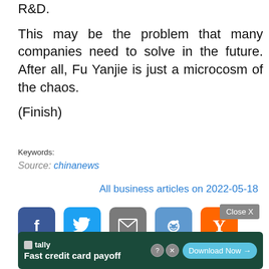R&D.
This may be the problem that many companies need to solve in the future. After all, Fu Yanjie is just a microcosm of the chaos.
(Finish)
Keywords:
Source: chinanews
All business articles on 2022-05-18
[Figure (infographic): Social share buttons: Facebook (dark blue), Twitter (blue), Email (gray), Reddit (blue), Hacker News/Y (orange)]
Close X
[Figure (infographic): Advertisement banner for Tally app: 'Fast credit card payoff' with Download Now button]